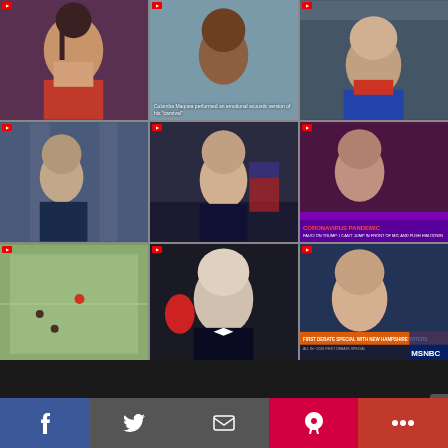[Figure (photo): Grid of 9 video thumbnails showing various public figures and news clips]
Contact
🏠 Bankstown, Meredith Street, Sydney
✉ info@feedimo.com
f  Twitter  envelope  P  +